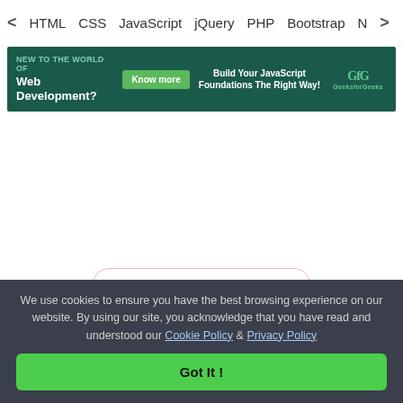< HTML  CSS  JavaScript  jQuery  PHP  Bootstrap  N>
[Figure (illustration): GeeksforGeeks dark green banner with text 'New to the World of Web Development?', a 'Know more' green button, 'Build Your JavaScript Foundations The Right Way!' text, and GeeksforGeeks logo]
[Figure (other): A rounded rectangle bordered button with a heart icon, the word 'Like' in bold, and the number 0]
< Previous
We use cookies to ensure you have the best browsing experience on our website. By using our site, you acknowledge that you have read and understood our Cookie Policy & Privacy Policy
Got It !